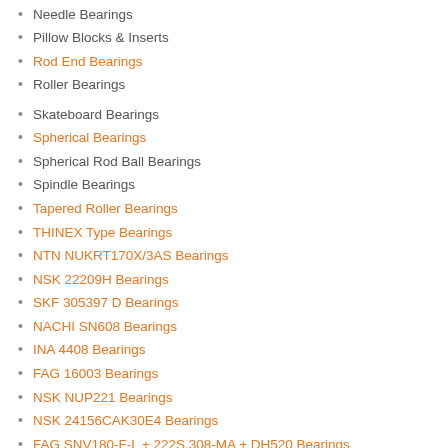Needle Bearings
Pillow Blocks & Inserts
Rod End Bearings
Roller Bearings
Skateboard Bearings
Spherical Bearings
Spherical Rod Ball Bearings
Spindle Bearings
Tapered Roller Bearings
THINEX Type Bearings
NTN NUKRT170X/3AS Bearings
NSK 22209H Bearings
SKF 305397 D Bearings
NACHI SN608 Bearings
INA 4408 Bearings
FAG 16003 Bearings
NSK NUP221 Bearings
NSK 24156CAK30E4 Bearings
FAG SNV180-F-L + 222S.308-MA + DH520 Bearings
KOYO 626Z Bearings